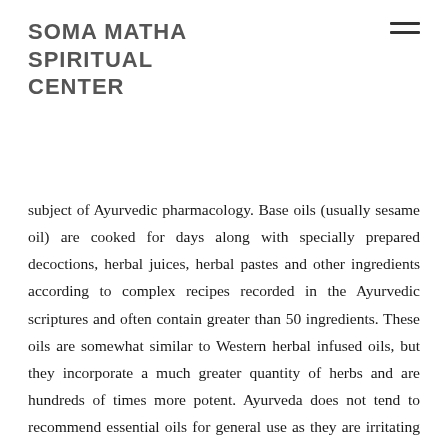SOMA MATHA SPIRITUAL CENTER
subject of Ayurvedic pharmacology. Base oils (usually sesame oil) are cooked for days along with specially prepared decoctions, herbal juices, herbal pastes and other ingredients according to complex recipes recorded in the Ayurvedic scriptures and often contain greater than 50 ingredients. These oils are somewhat similar to Western herbal infused oils, but they incorporate a much greater quantity of herbs and are hundreds of times more potent. Ayurveda does not tend to recommend essential oils for general use as they are irritating to the skin and agitating to the mind and have a tendency to aggravate both vata and pitta dosha, irrespective of the qualities of the herbs used to distill the oils, because essential oils isolate only